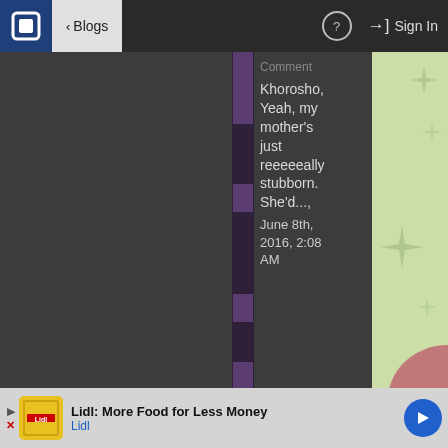Blogs | Sign In
Comment
Khorosho,
Yeah, my mother's just reeeeeally stubborn. She'd...,
June 8th, 2016, 2:08 AM
[Figure (screenshot): Right panel with light green background and sparkle/star decorative elements]
Lidl: More Food for Less Money
Lidl